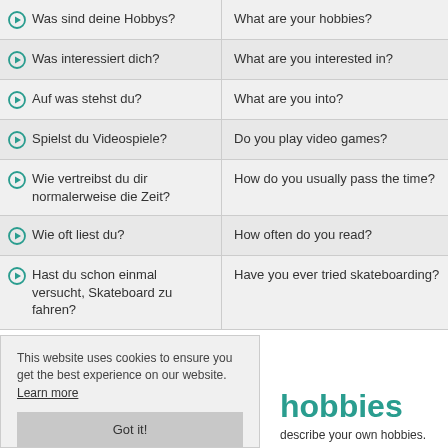Was sind deine Hobbys? | What are your hobbies?
Was interessiert dich? | What are you interested in?
Auf was stehst du? | What are you into?
Spielst du Videospiele? | Do you play video games?
Wie vertreibst du dir normalerweise die Zeit? | How do you usually pass the time?
Wie oft liest du? | How often do you read?
Hast du schon einmal versucht, Skateboard zu fahren? | Have you ever tried skateboarding?
This website uses cookies to ensure you get the best experience on our website. Learn more
Got it!
hobbies
describe your own hobbies.